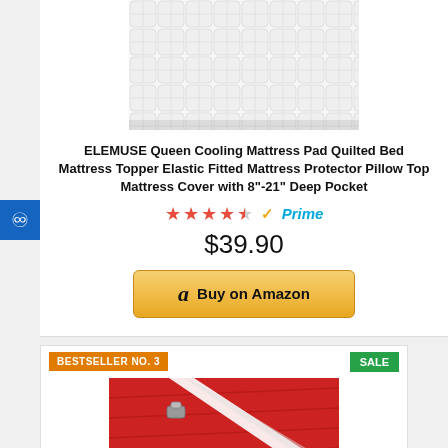[Figure (photo): White quilted mattress pad topper product photo]
ELEMUSE Queen Cooling Mattress Pad Quilted Bed Mattress Topper Elastic Fitted Mattress Protector Pillow Top Mattress Cover with 8"-21" Deep Pocket
[Figure (other): 4.5 red star rating and Amazon Prime badge]
$39.90
[Figure (other): Buy on Amazon button with Amazon logo]
BESTSELLER NO. 3
SALE
[Figure (photo): Red sheet with white elastic bed sheet holder straps and clips product photo]